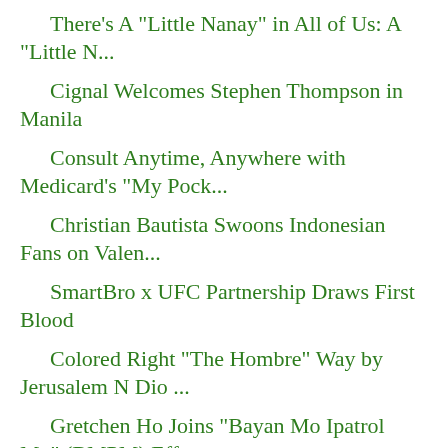There's A "Little Nanay" in All of Us: A "Little N...
Cignal Welcomes Stephen Thompson in Manila
Consult Anytime, Anywhere with Medicard's "My Pock...
Christian Bautista Swoons Indonesian Fans on Valen...
SmartBro x UFC Partnership Draws First Blood
Colored Right "The Hombre" Way by Jerusalem N Dio ...
Gretchen Ho Joins "Bayan Mo Ipatrol Mo" (BMPM) Eff...
Alden Richards, Maine Mendoza, Robin Padilla and T...